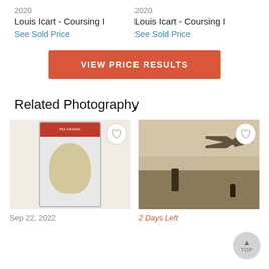2020
Louis Icart - Coursing I
See Sold Price
2020
Louis Icart - Coursing I
See Sold Price
VIEW PRICE RESULTS
Related Photography
[Figure (photo): PSA graded card in slab with red label, showing faded portrait on yellowish card]
Sep 22, 2022
[Figure (photo): Vintage sepia photograph of a person standing in front of an early aircraft on a grassy field]
2 Days Left